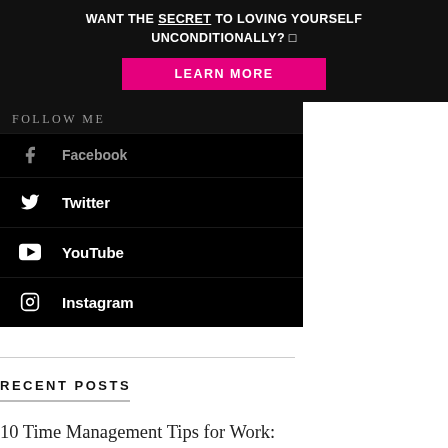WANT THE SECRET TO LOVING YOURSELF UNCONDITIONALLY? 🔲
LEARN MORE
FOLLOW ME
Facebook
Twitter
YouTube
Instagram
RECENT POSTS
10 Time Management Tips for Work: How to Be Productive Every Day